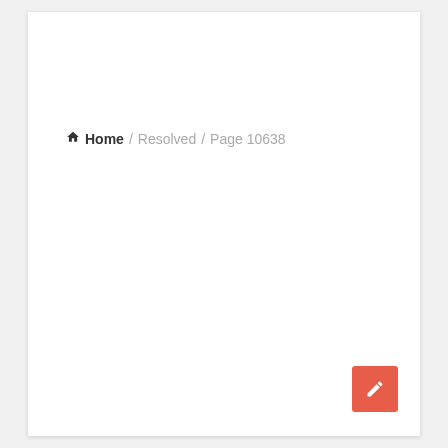🏠 Home / Resolved / Page 10638
[Figure (other): Red edit/pencil button in the bottom-right corner of the page]